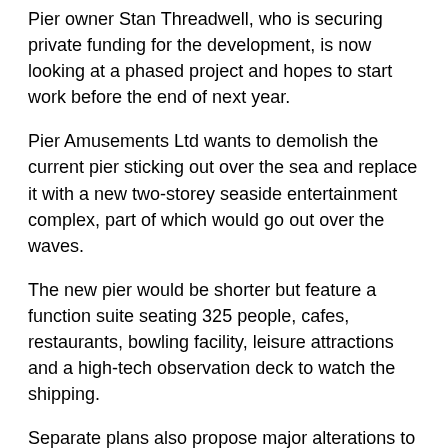Pier owner Stan Threadwell, who is securing private funding for the development, is now looking at a phased project and hopes to start work before the end of next year.
Pier Amusements Ltd wants to demolish the current pier sticking out over the sea and replace it with a new two-storey seaside entertainment complex, part of which would go out over the waves.
The new pier would be shorter but feature a function suite seating 325 people, cafes, restaurants, bowling facility, leisure attractions and a high-tech observation deck to watch the shipping.
Separate plans also propose major alterations to the prom alongside, the front of the leisure centre known as Pier Bight, and the derelict yacht pond area at the rear of the centre.